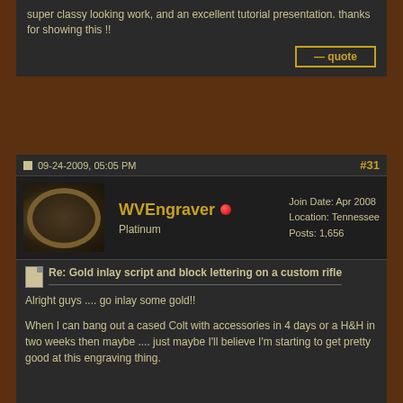super classy looking work, and an excellent tutorial presentation. thanks for showing this !!
quote
09-24-2009, 05:05 PM
#31
[Figure (photo): Avatar image of an engraved ring with filigree/scroll work design]
WVEngraver
Platinum
Join Date: Apr 2008
Location: Tennessee
Posts: 1,656
Re: Gold inlay script and block lettering on a custom rifle
Alright guys .... go inlay some gold!!

When I can bang out a cased Colt with accessories in 4 days or a H&H in two weeks then maybe .... just maybe I'll believe I'm starting to get pretty good at this engraving thing.


Hey Vern ... no, I did not take the ex back ...... not ever!

Catch ya later guys ...

C.
http://www.cdmengraving.com